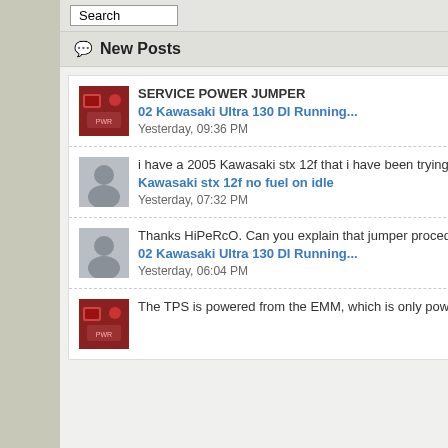New Posts
SERVICE POWER JUMPER
02 Kawasaki Ultra 130 DI Running...
Yesterday, 09:36 PM
i have a 2005 Kawasaki stx 12f that i have been trying to get running for...
Kawasaki stx 12f no fuel on idle
Yesterday, 07:32 PM
Thanks HiPeRcO. Can you explain that jumper procedure a bit more? You are...
02 Kawasaki Ultra 130 DI Running...
Yesterday, 06:04 PM
The TPS is powered from the EMM, which is only powered up when the...
Join Date: Jul 2007
Location: Cedar Rapids,
Posts: 6,380
+1: 23
08-05-2009, 11:24 AM
johnsonmtz
[Figure (photo): Person wearing green jacket, back view, dark background]
[Figure (photo): Man with sunglasses on paddleboard on water, arms spread out]